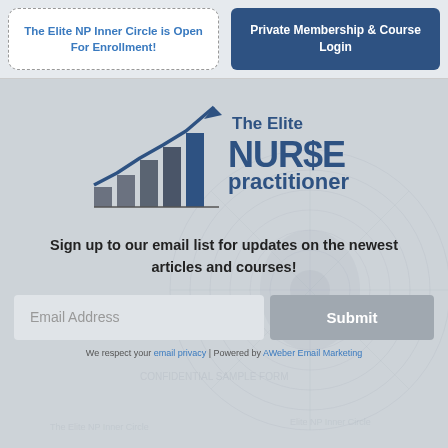The Elite NP Inner Circle is Open For Enrollment!
Private Membership & Course Login
[Figure (logo): The Elite NURSE practitioner logo with bar chart and upward arrow graphic]
Sign up to our email list for updates on the newest articles and courses!
Email Address [input field] Submit [button]
We respect your email privacy | Powered by AWeber Email Marketing